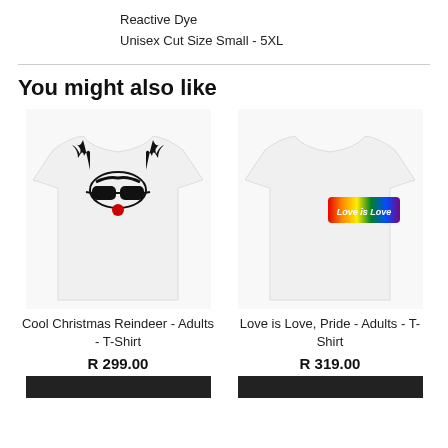Reactive Dye
Unisex Cut Size Small - 5XL
You might also like
[Figure (photo): White t-shirt with Cool Christmas Reindeer graphic featuring antlers, sunglasses and red nose]
Cool Christmas Reindeer - Adults - T-Shirt
R 299.00
[Figure (photo): White t-shirt with Love is Love rainbow pride graphic]
Love is Love, Pride - Adults - T-Shirt
R 319.00